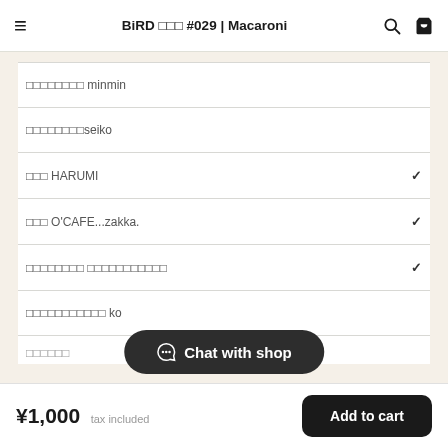BiRD □□□ #029 | Macaroni
□□□□□□□□ minmin
□□□□□□□□seiko
□□□ HARUMI
□□□ O'CAFE...zakka.
□□□□□□□□ □□□□□□□□□□□
□□□□□□□□□□□ ko
□□□□□□
Chat with shop
¥1,000  tax included
Add to cart